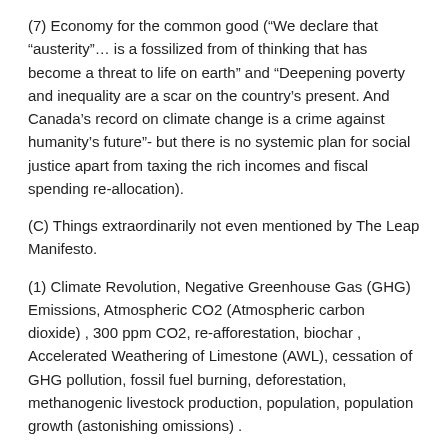(7) Economy for the common good (“We declare that “austerity”… is a fossilized from of thinking that has become a threat to life on earth” and “Deepening poverty and inequality are a scar on the country’s present. And Canada’s record on climate change is a crime against humanity’s future”- but there is no systemic plan for social justice apart from taxing the rich incomes and fiscal spending re-allocation).
(C) Things extraordinarily not even mentioned by The Leap Manifesto.
(1) Climate Revolution, Negative Greenhouse Gas (GHG) Emissions, Atmospheric CO2 (Atmospheric carbon dioxide) , 300 ppm CO2, re-afforestation, biochar , Accelerated Weathering of Limestone (AWL), cessation of GHG pollution, fossil fuel burning, deforestation, methanogenic livestock production, population, population growth (astonishing omissions) .
(2) Non-carbon energy, geothermal energy, solar energy, wind energy, wave energy, tide energy, hydro energy, waste avoidance, energy efficiency, sufficiency, needs-based production (more astonishing omissions).